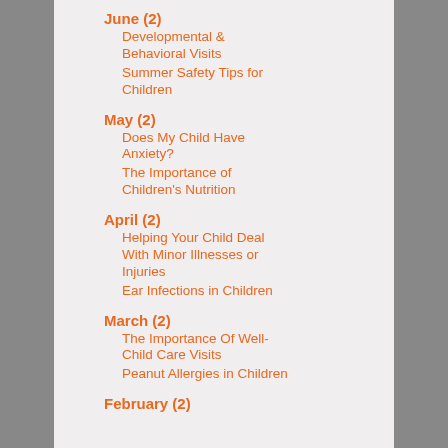June (2)
Developmental & Behavioral Visits
Summer Safety Tips for Children
May (2)
Does My Child Have Anxiety?
The Importance of Children's Nutrition
April (2)
Helping Your Child Deal With Minor Illnesses or Injuries
Ear Infections in Children
March (2)
The Importance Of Well-Child Care Visits
Peanut Allergies in Children
February (2)